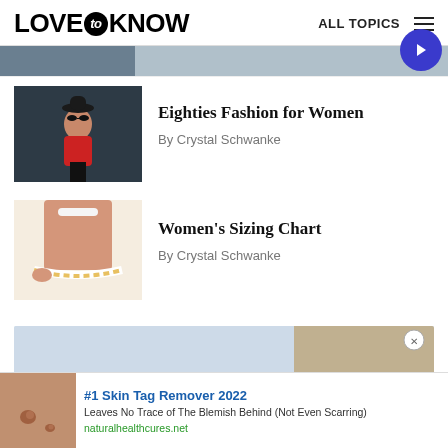LOVE to KNOW | ALL TOPICS
[Figure (photo): Cropped thumbnail image at top, partially visible]
[Figure (photo): Woman wearing large sunglasses and red top with black shorts, 80s fashion style]
Eighties Fashion for Women
By Crystal Schwanke
[Figure (photo): Woman measuring her waist with a tape measure]
Women's Sizing Chart
By Crystal Schwanke
[Figure (photo): Advertisement banner with background sky and food image]
[Figure (photo): Skin tag advertisement with close-up skin photo]
#1 Skin Tag Remover 2022
Leaves No Trace of The Blemish Behind (Not Even Scarring)
naturalhealthcures.net